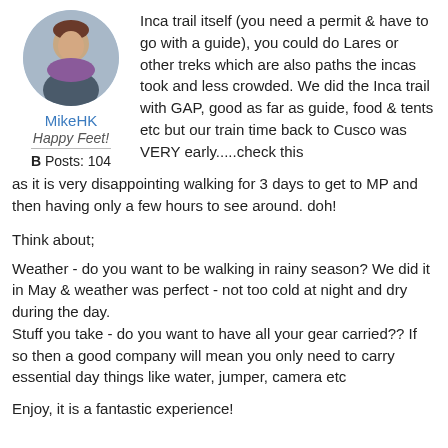[Figure (photo): Circular avatar photo of forum user MikeHK]
MikeHK
Happy Feet!
B Posts: 104
Inca trail itself (you need a permit & have to go with a guide), you could do Lares or other treks which are also paths the incas took and less crowded. We did the Inca trail with GAP, good as far as guide, food & tents etc but our train time back to Cusco was VERY early.....check this as it is very disappointing walking for 3 days to get to MP and then having only a few hours to see around. doh!
Think about;
Weather - do you want to be walking in rainy season? We did it in May & weather was perfect - not too cold at night and dry during the day.
Stuff you take - do you want to have all your gear carried?? If so then a good company will mean you only need to carry essential day things like water, jumper, camera etc
Enjoy, it is a fantastic experience!